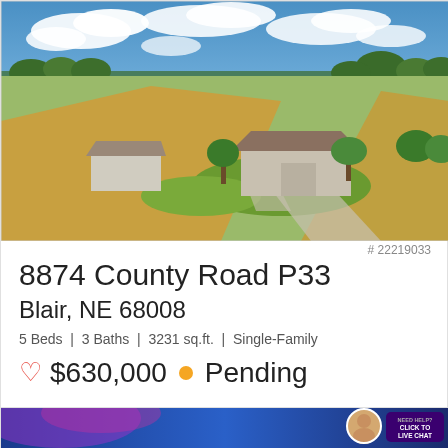[Figure (photo): Aerial drone photograph of a single-family home with attached garage on a rural property, surrounded by fields and trees under a blue sky with clouds.]
# 22219033
8874 County Road P33
Blair, NE 68008
5 Beds | 3 Baths | 3231 sq.ft. | Single-Family
♡ $630,000 • Pending
[Figure (photo): Bottom partial image of a blue-sky scene, with an agent photo circle and a purple 'Need Help? Click to Live Chat' button overlay.]